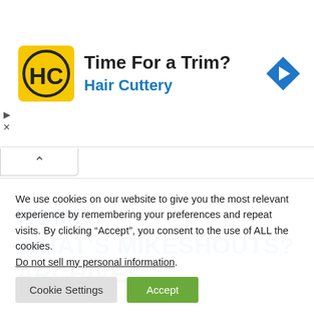[Figure (other): Hair Cuttery advertisement banner with logo (yellow square with HC letters), headline 'Time For a Trim?', subheading 'Hair Cuttery', and a blue navigation arrow icon on the right.]
HOME
WHAT'S MIKESHOUTS?
ARCHIVES
We use cookies on our website to give you the most relevant experience by remembering your preferences and repeat visits. By clicking “Accept”, you consent to the use of ALL the cookies. Do not sell my personal information.